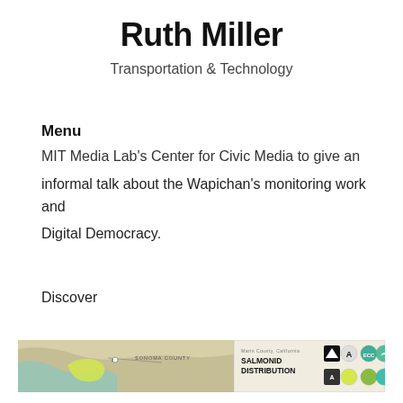Ruth Miller
Transportation & Technology
Menu
MIT Media Lab's Center for Civic Media to give an informal talk about the Wapichan's monitoring work and Digital Democracy.
Discover
[Figure (map): Partial map showing Marin County, California Salmonid Distribution with logos/badges on the right side]